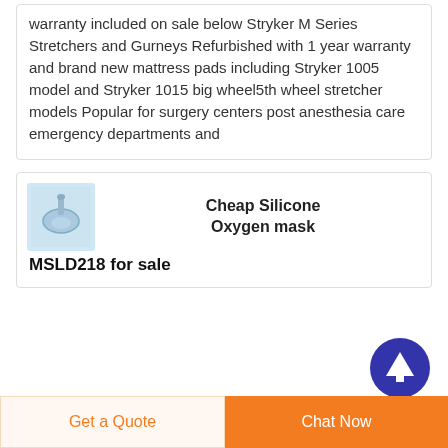warranty included on sale below Stryker M Series Stretchers and Gurneys Refurbished with 1 year warranty and brand new mattress pads including Stryker 1005 model and Stryker 1015 big wheel5th wheel stretcher models Popular for surgery centers post anesthesia care emergency departments and
[Figure (illustration): Arrow up icon in dark blue circle (scroll-to-top button)]
[Figure (photo): Small thumbnail image of silicone oxygen mask on light blue background]
Cheap Silicone Oxygen mask MSLD218 for sale
Get a Quote
Chat Now